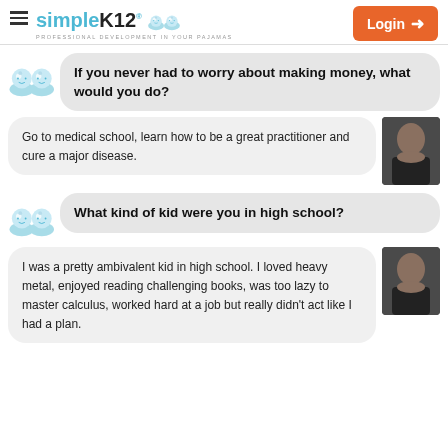simpleK12 - PROFESSIONAL DEVELOPMENT IN YOUR PAJAMAS | Login
If you never had to worry about making money, what would you do?
Go to medical school, learn how to be a great practitioner and cure a major disease.
What kind of kid were you in high school?
I was a pretty ambivalent kid in high school. I loved heavy metal, enjoyed reading challenging books, was too lazy to master calculus, worked hard at a job but really didn't act like I had a plan.